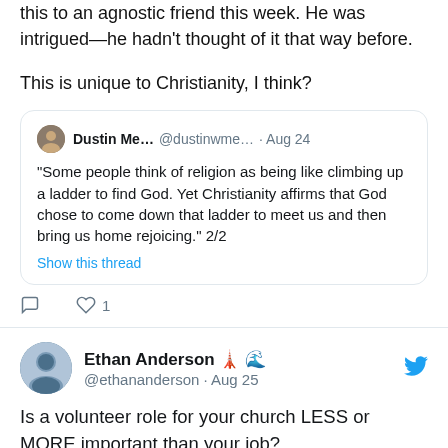this to an agnostic friend this week. He was intrigued—he hadn't thought of it that way before.
This is unique to Christianity, I think?
Dustin Me... @dustinwme... · Aug 24
"Some people think of religion as being like climbing up a ladder to find God. Yet Christianity affirms that God chose to come down that ladder to meet us and then bring us home rejoicing." 2/2
Show this thread
Ethan Anderson 🗼🌊 @ethananderson · Aug 25
Is a volunteer role for your church LESS or MORE important than your job?